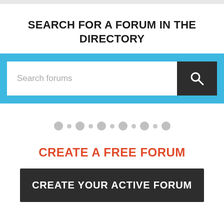SEARCH FOR A FORUM IN THE DIRECTORY
[Figure (screenshot): Search bar with blue background, white text input area with placeholder 'Search forums', and dark search button with magnifying glass icon]
[Figure (other): Row of alternating large and small grey dots as a decorative separator]
CREATE A FREE FORUM
CREATE YOUR ACTIVE FORUM